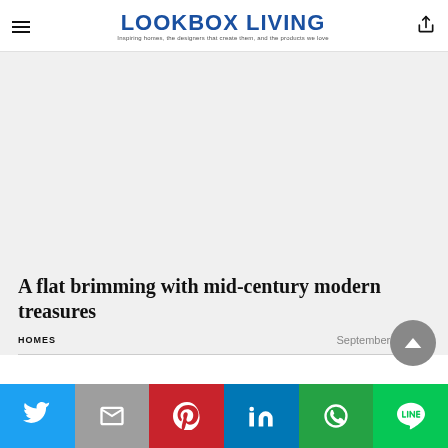LOOKBOX LIVING — Inspiring homes, the designers that create them, and the products we love
[Figure (photo): Hero image placeholder — light grey rectangle representing a flat interior photo]
A flat brimming with mid-century modern treasures
HOMES
September 2, 2022